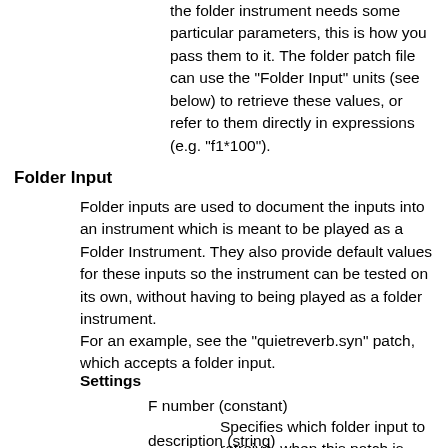the folder instrument needs some particular parameters, this is how you pass them to it. The folder patch file can use the "Folder Input" units (see below) to retrieve these values, or refer to them directly in expressions (e.g. "f1*100").
Folder Input
Folder inputs are used to document the inputs into an instrument which is meant to be played as a Folder Instrument. They also provide default values for these inputs so the instrument can be tested on its own, without having to being played as a folder instrument.
For an example, see the "quietreverb.syn" patch, which accepts a folder input.
Settings
F number (constant)
Specifies which folder input to retreive, when this patch is played as a folder instrument.
description (string)